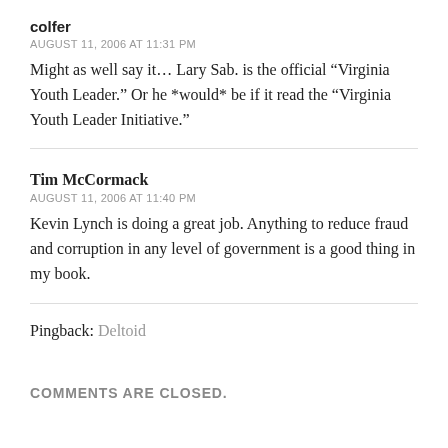colfer
AUGUST 11, 2006 AT 11:31 PM
Might as well say it… Lary Sab. is the official “Virginia Youth Leader.” Or he *would* be if it read the “Virginia Youth Leader Initiative.”
Tim McCormack
AUGUST 11, 2006 AT 11:40 PM
Kevin Lynch is doing a great job. Anything to reduce fraud and corruption in any level of government is a good thing in my book.
Pingback: Deltoid
COMMENTS ARE CLOSED.